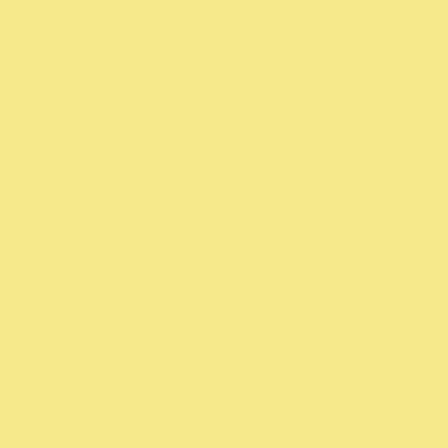The book is in excellent shape with journey from the mid-West to the W up adjacent mail in transit.
The boards are really tough (as are th 8lb textblock weight even when bur
Posted by: Kevin Purcell | Friday, 26 February 2016 a
Congratulations to all on the success kept hearing Tom Lehrer singing "D song 'The Old Dope Peddler' in my h
Not that the people who run top-noto habits these days or anything...
Steve
Posted by: Steve G, Mendocino | Friday, 26 February
I received my book yesterday and I a others here questioning the very mi